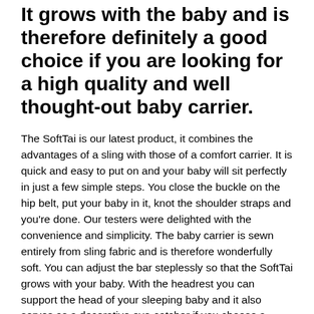It grows with the baby and is therefore definitely a good choice if you are looking for a high quality and well thought-out baby carrier.
The SoftTai is our latest product, it combines the advantages of a sling with those of a comfort carrier. It is quick and easy to put on and your baby will sit perfectly in just a few simple steps. You close the buckle on the hip belt, put your baby in it, knot the shoulder straps and you're done. Our testers were delighted with the convenience and simplicity. The baby carrier is sewn entirely from sling fabric and is therefore wonderfully soft. You can adjust the bar steplessly so that the SoftTai grows with your baby. With the headrest you can support the head of your sleeping baby and it also serves as a decorative eye-catcher if you choose a model with colorful fabrics. Made from 100% GOTS-certified organic cotton.
Detailed product information